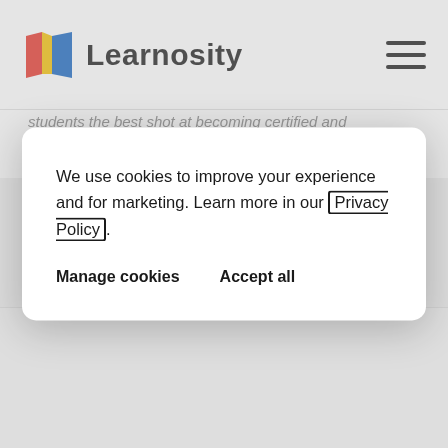Learnosity
students the best shot at becoming certified and helps faculty improve their programs.
We use cookies to improve your experience and for marketing. Learn more in our Privacy Policy
Manage cookies   Accept all